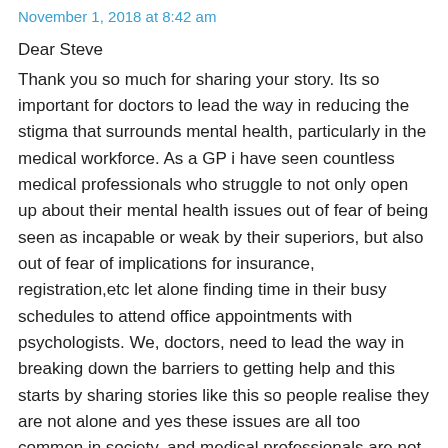November 1, 2018 at 8:42 am
Dear Steve
Thank you so much for sharing your story. Its so important for doctors to lead the way in reducing the stigma that surrounds mental health, particularly in the medical workforce. As a GP i have seen countless medical professionals who struggle to not only open up about their mental health issues out of fear of being seen as incapable or weak by their superiors, but also out of fear of implications for insurance, registration,etc let alone finding time in their busy schedules to attend office appointments with psychologists. We, doctors, need to lead the way in breaking down the barriers to getting help and this starts by sharing stories like this so people realise they are not alone and yes these issues are all too common in society, and medical professionals are not immune to mental illness. We also need to place pressure on insurance companies to change rules for